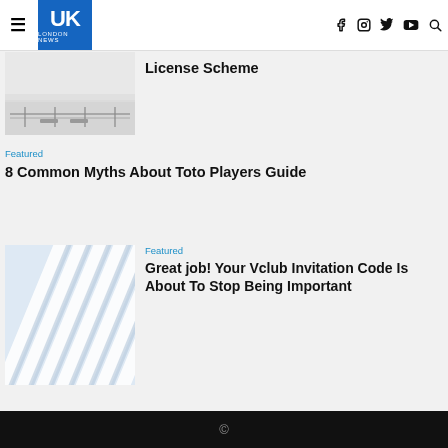UK London News — navigation header with hamburger menu, logo, social icons (facebook, instagram, twitter, youtube, search)
[Figure (photo): Black and white photo of a waterfront promenade with benches and a railing, misty water in background]
License Scheme
Featured
8 Common Myths About Toto Players Guide
[Figure (photo): Close-up photo of architectural white ribbed curved structure, modern building detail]
Featured
Great job! Your Vclub Invitation Code Is About To Stop Being Important
©